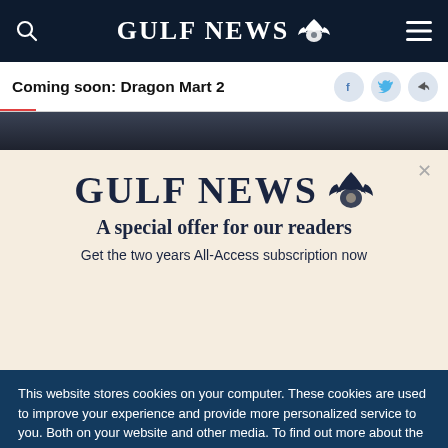GULF NEWS
Coming soon: Dragon Mart 2
[Figure (screenshot): Dark image strip representing article photo]
GULF NEWS
A special offer for our readers
Get the two years All-Access subscription now
This website stores cookies on your computer. These cookies are used to improve your experience and provide more personalized service to you. Both on your website and other media. To find out more about the cookies and data we use, please check out our Privacy Policy.
OK